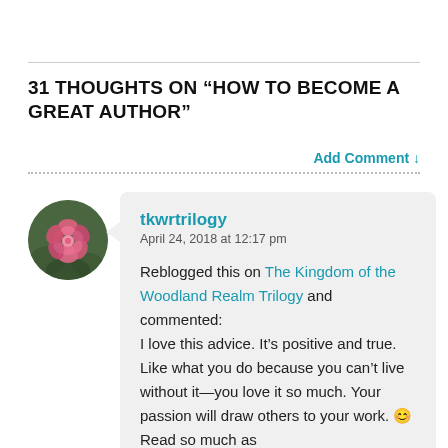31 THOUGHTS ON “HOW TO BECOME A GREAT AUTHOR”
Add Comment ↓
[Figure (photo): Circular avatar image of a pink rose flower against a dark green background]
tkwrtrilogy
April 24, 2018 at 12:17 pm

Reblogged this on The Kingdom of the Woodland Realm Trilogy and commented:
I love this advice. It’s positive and true. Like what you do because you can’t live without it—you love it so much. Your passion will draw others to your work. 😊 Read so much as